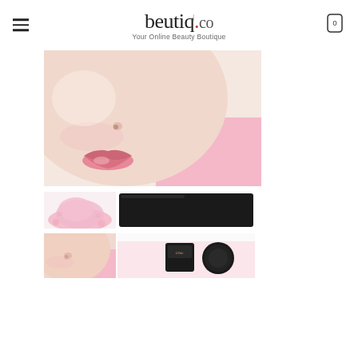beutiq.co — Your Online Beauty Boutique
[Figure (photo): Close-up beauty photo of a woman's face showing cheek, nose, and lips with glossy pink lip color and subtle blush, against a pink background]
[Figure (photo): Thumbnail 1: Pink loose powder cosmetic product dispersed on white surface]
[Figure (photo): Thumbnail 2: Dark/black rectangular compact cosmetic product packaging]
[Figure (photo): Thumbnail 3: Close-up of woman's cheek and nose with blush on pink background]
[Figure (photo): Thumbnail 4: Two compact blush products (square and round) with brand script logo on a pink background]